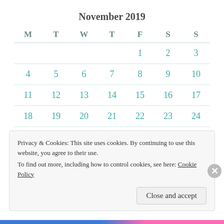November 2019
| M | T | W | T | F | S | S |
| --- | --- | --- | --- | --- | --- | --- |
|  |  |  |  | 1 | 2 | 3 |
| 4 | 5 | 6 | 7 | 8 | 9 | 10 |
| 11 | 12 | 13 | 14 | 15 | 16 | 17 |
| 18 | 19 | 20 | 21 | 22 | 23 | 24 |
Privacy & Cookies: This site uses cookies. By continuing to use this website, you agree to their use.
To find out more, including how to control cookies, see here: Cookie Policy
Close and accept